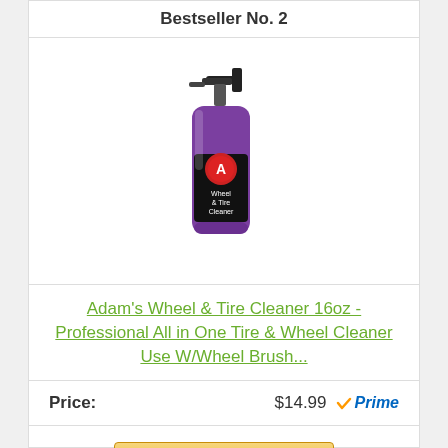Bestseller No. 2
[Figure (photo): Adam's Wheel & Tire Cleaner 16oz spray bottle with purple label and red Adam's logo]
Adam's Wheel & Tire Cleaner 16oz - Professional All in One Tire & Wheel Cleaner Use W/Wheel Brush...
Price: $14.99 Prime
Buy On Amazon